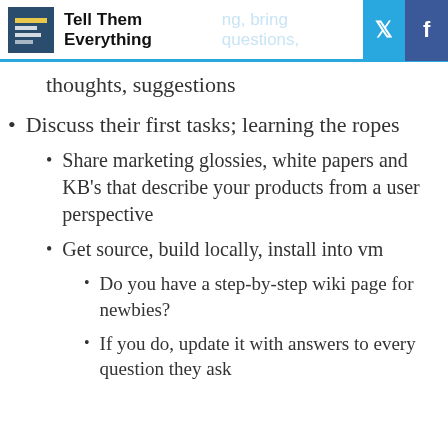Tell Them Everything
thoughts, suggestions
Discuss their first tasks; learning the ropes
Share marketing glossies, white papers and KB's that describe your products from a user perspective
Get source, build locally, install into vm
Do you have a step-by-step wiki page for newbies?
If you do, update it with answers to every question they ask